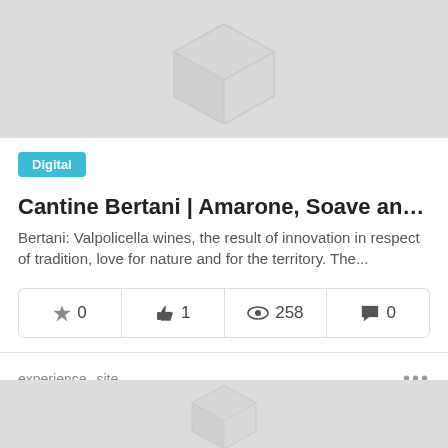[Figure (illustration): Gray cube/box logo watermark on light gray background, top banner]
Digital
Cantine Bertani | Amarone, Soave and the best wi...
Bertani: Valpolicella wines, the result of innovation in respect of tradition, love for nature and for the territory. The...
| stars | likes | views | comments |
| --- | --- | --- | --- |
| 0 | 1 | 258 | 0 |
experience  site
Pedro Serra
1 ano
[Figure (illustration): Gray cube/box logo watermark on light gray background, bottom banner]